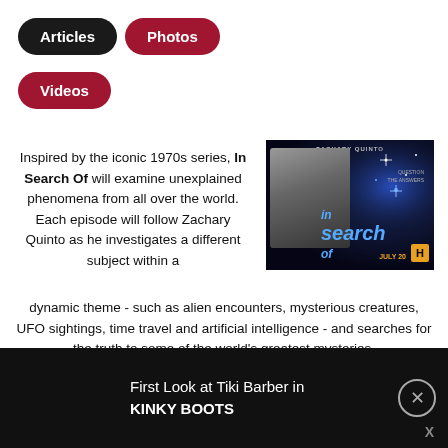Articles
Photos
Videos
[Figure (photo): In Search Of TV show poster featuring Zachary Quinto with blue/dark background, show title 'in search of' and History channel logo, airing July 20]
Inspired by the iconic 1970s series, In Search Of will examine unexplained phenomena from all over the world. Each episode will follow Zachary Quinto as he investigates a different subject within a dynamic theme - such as alien encounters, mysterious creatures, UFO sightings, time travel and artificial intelligence - and searches for the truth to some of the world's greatest mysteries.
First Look at Tiki Barber in KINKY BOOTS